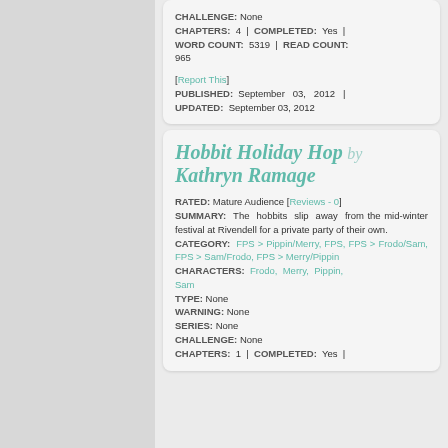CHALLENGE: None CHAPTERS: 4 | COMPLETED: Yes | WORD COUNT: 5319 | READ COUNT: 965
[Report This] PUBLISHED: September 03, 2012 | UPDATED: September 03, 2012
Hobbit Holiday Hop by Kathryn Ramage
RATED: Mature Audience [Reviews - 0] SUMMARY: The hobbits slip away from the mid-winter festival at Rivendell for a private party of their own. CATEGORY: FPS > Pippin/Merry, FPS, FPS > Frodo/Sam, FPS > Sam/Frodo, FPS > Merry/Pippin CHARACTERS: Frodo, Merry, Pippin, Sam TYPE: None WARNING: None SERIES: None CHALLENGE: None CHAPTERS: 1 | COMPLETED: Yes |